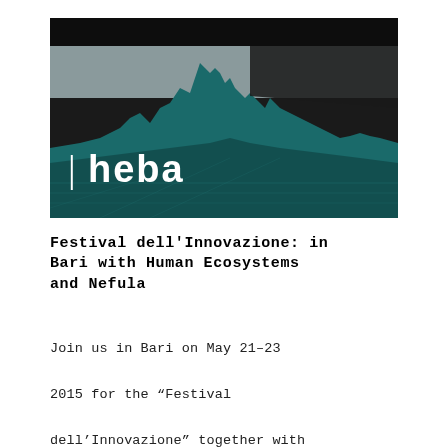[Figure (illustration): Dark teal/green 3D city model rendered on a dark background with a white hexagonal logo 'heba' in the lower left area of the image]
Festival dell'Innovazione: in Bari with Human Ecosystems and Nefula
Join us in Bari on May 21–23

2015 for the “Festival

dell’Innovazione” together with

Art is Open Source, Human